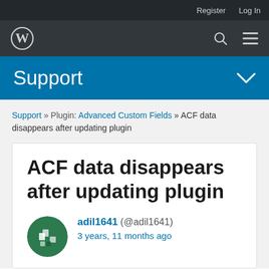Register   Log In
[Figure (logo): WordPress logo in the main navigation bar with search and menu icons]
Support
Support » Plugin: Advanced Custom Fields » ACF data disappears after updating plugin
ACF data disappears after updating plugin
adil1641 (@adil1641)
3 years, 11 months ago